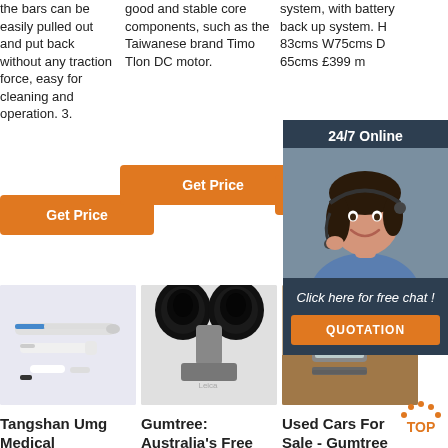the bars can be easily pulled out and put back without any traction force, easy for cleaning and operation. 3.
good and stable core components, such as the Taiwanese brand Timo Tlon DC motor.
system, with battery back up system. H 83cms W75cms D 65cms £399 m
Get Price
Get Price
Get
[Figure (infographic): 24/7 Online chat overlay with customer support agent photo, 'Click here for free chat!' text, and orange QUOTATION button on dark navy background]
[Figure (photo): Dental handpiece/instrument tools on white background - Tangshan Umg Medical product]
[Figure (photo): Close-up of microscope binocular lenses on white background - Gumtree Australia Free Marketplace product]
[Figure (photo): Used car dealership scene on wooden table background - Used Cars For Sale Gumtree]
Tangshan Umg Medical
Gumtree: Australia's Free
Used Cars For Sale - Gumtree